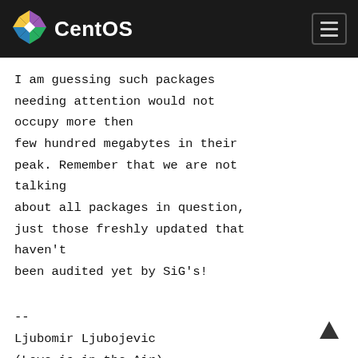CentOS
I am guessing such packages needing attention would not occupy more then few hundred megabytes in their peak. Remember that we are not talking about all packages in question, just those freshly updated that haven't been audited yet by SiG's!
--
Ljubomir Ljubojevic
(Love is in the Air)